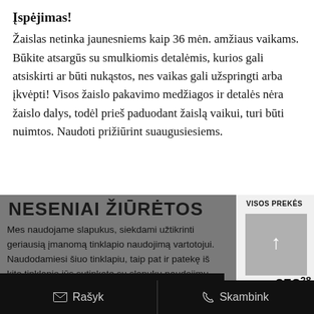Įspėjimas!
Žaislas netinka jaunesniems kaip 36 mėn. amžiaus vaikams. Būkite atsargūs su smulkiomis detalėmis, kurios gali atsiskirti ar būti nukąstos, nes vaikas gali užspringti arba įkvėpti! Visos žaislo pakavimo medžiagos ir detalės nėra žaislo dalys, todėl prieš paduodant žaislą vaikui, turi būti nuimtos. Naudoti prižiūrint suaugusiesiems.
NESENIAI ŽIŪRĖTOS
Mes naudojame slapukus, siekdami užtikrinti geriausią įmanomą tinklapio naudojimą vartotojui. Naudodamiesi šiuo tinklapiu, taip pat ir patekę iš kito tinklapio jūs sutinkate su slapukų naudojimu. Sužinoti plačiau.
VISOS PREKĖS
OLIER S16  €52.28
SUTINKU
✉ Rašyk    ☎ Skambink